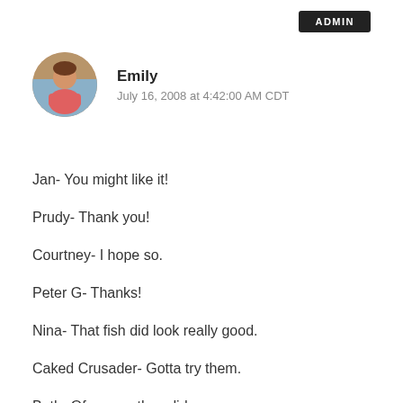ADMIN
[Figure (photo): Circular avatar photo of Emily, a woman in a pink/red outfit]
Emily
July 16, 2008 at 4:42:00 AM CDT
Jan- You might like it!
Prudy- Thank you!
Courtney- I hope so.
Peter G- Thanks!
Nina- That fish did look really good.
Caked Crusader- Gotta try them.
Beth- Of course they did.
Peter M- Probably somebody is.
Jules- Yes, I agree.